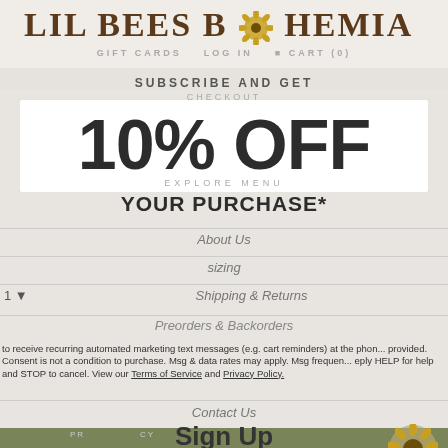LIL BEES BOHEMIA
GIFT CARDS   LOG IN   CART (0)
SUBSCRIBE AND GET
CHECKOUT
10% OFF
EXPLORE MENU
YOUR PURCHASE*
About Us
sizing
1 ▾
Shipping & Returns
Preorders & Backorders
to receive recurring automated marketing text messages (e.g. cart reminders) at the phone provided. Consent is not a condition to purchase. Msg & data rates may apply. Msg frequency. Reply HELP for help and STOP to cancel. View our Terms of Service and Privacy Policy.
Contact Us
PRIVACY
Sign Up
BLOG
No Thanks
Brand Ambassador